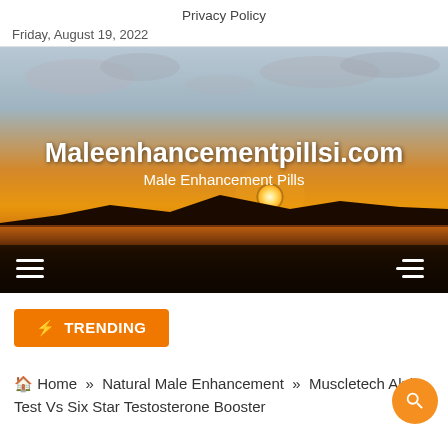Privacy Policy
Friday, August 19, 2022
[Figure (photo): Hero banner image of a sunset over water with dark silhouetted land, overlaid with site title 'Maleenhancementpillsi.com' and subtitle 'Male Enhancement Pills', plus navigation hamburger menu icons]
⚡ TRENDING
🏠 Home » Natural Male Enhancement » Muscletech Alpha Test Vs Six Star Testosterone Booster